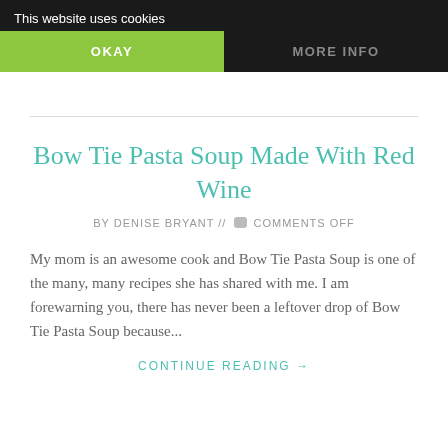This website uses cookies
OKAY
MORE INFO
Bow Tie Pasta Soup Made With Red Wine
BY DENISE BRYANT // 💬 COMMENTS OFF
My mom is an awesome cook and Bow Tie Pasta Soup is one of the many, many recipes she has shared with me. I am forewarning you, there has never been a leftover drop of Bow Tie Pasta Soup because...
CONTINUE READING →